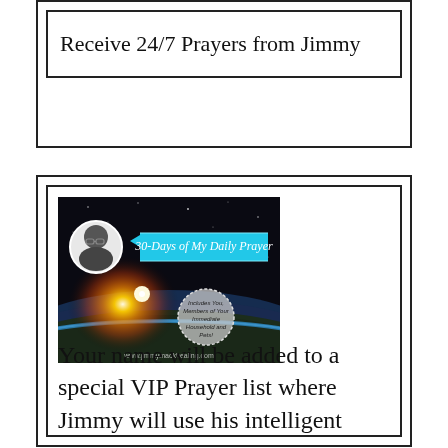Receive 24/7 Prayers from Jimmy
[Figure (photo): Promotional image for '30-Days of My Daily Prayer' by Jimmy Mack. Shows a man with glasses on the left, a cyan ribbon banner with text '30-Days of My Daily Prayer', a dramatic space/earth sunrise background, a circular badge reading 'Includes You, Members of Your Immediate Household and Pets!', and website www.jimmymackhealing.com at the bottom.]
Your name will be added to a special VIP Prayer list where Jimmy will use his intelligent